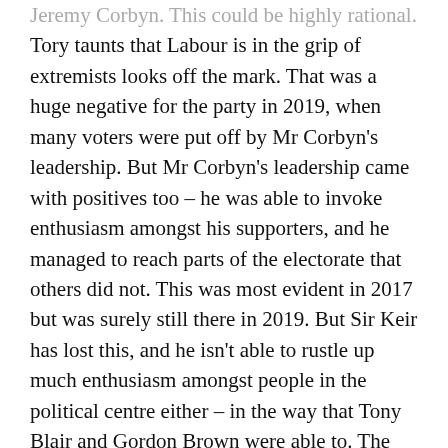Jeremy Corbyn. This could be highly rational. Tory taunts that Labour is in the grip of extremists looks off the mark. That was a huge negative for the party in 2019, when many voters were put off by Mr Corbyn's leadership. But Mr Corbyn's leadership came with positives too – he was able to invoke enthusiasm amongst his supporters, and he managed to reach parts of the electorate that others did not. This was most evident in 2017 but was surely still there in 2019. But Sir Keir has lost this, and he isn't able to rustle up much enthusiasm amongst people in the political centre either – in the way that Tony Blair and Gordon Brown were able to. The local elections have done nothing to allay those doubts.
The second reason Sir Keir is under pressure is a police investigation into an alleged breach of lockdown rules in 2021 while campaigning in a by election. This follows ongoing controversy about...